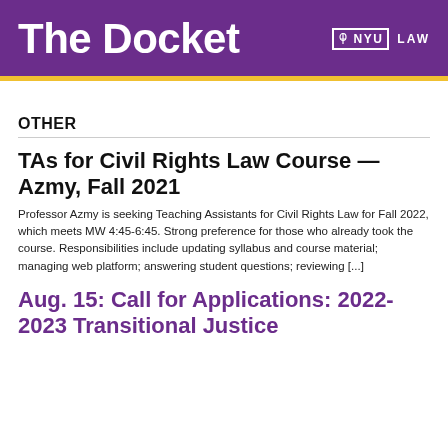The Docket — NYU LAW
OTHER
TAs for Civil Rights Law Course — Azmy, Fall 2021
Professor Azmy is seeking Teaching Assistants for Civil Rights Law for Fall 2022, which meets MW 4:45-6:45. Strong preference for those who already took the course. Responsibilities include updating syllabus and course material; managing web platform; answering student questions; reviewing [...]
Aug. 15: Call for Applications: 2022-2023 Transitional Justice